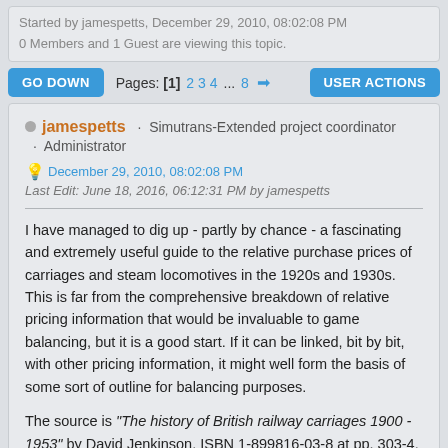Started by jamespetts, December 29, 2010, 08:02:08 PM
0 Members and 1 Guest are viewing this topic.
GO DOWN   Pages: [1] 2 3 4 ... 8 →   USER ACTIONS
jamespetts · Simutrans-Extended project coordinator · Administrator
December 29, 2010, 08:02:08 PM
Last Edit: June 18, 2016, 06:12:31 PM by jamespetts
I have managed to dig up - partly by chance - a fascinating and extremely useful guide to the relative purchase prices of carriages and steam locomotives in the 1920s and 1930s. This is far from the comprehensive breakdown of relative pricing information that would be invaluable to game balancing, but it is a good start. If it can be linked, bit by bit, with other pricing information, it might well form the basis of some sort of outline for balancing purposes.
The source is "The history of British railway carriages 1900 - 1953" by David Jenkinson, ISBN 1-899816-03-8 at pp. 303-4. In summary it gives the cost to build a Southern Railway eight